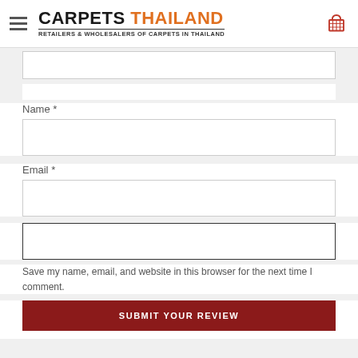CARPETS THAILAND — RETAILERS & WHOLESALERS OF CARPETS IN THAILAND
Name *
Email *
Save my name, email, and website in this browser for the next time I comment.
SUBMIT YOUR REVIEW